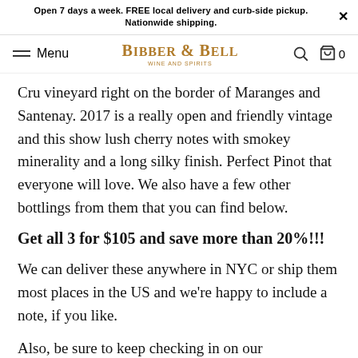Open 7 days a week. FREE local delivery and curb-side pickup. Nationwide shipping.
Menu | BIBBER & BELL WINE AND SPIRITS
Cru vineyard right on the border of Maranges and Santenay. 2017 is a really open and friendly vintage and this show lush cherry notes with smokey minerality and a long silky finish. Perfect Pinot that everyone will love. We also have a few other bottlings from them that you can find below.
Get all 3 for $105 and save more than 20%!!!
We can deliver these anywhere in NYC or ship them most places in the US and we're happy to include a note, if you like.
Also, be sure to keep checking in on our